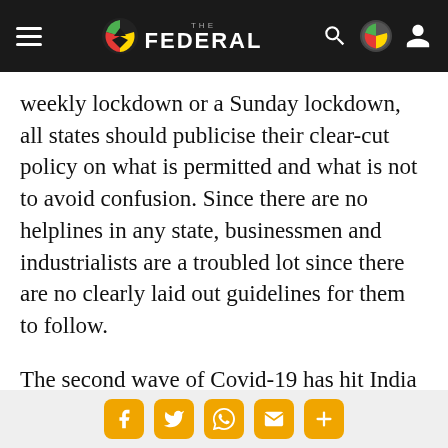THE FEDERAL
weekly lockdown or a Sunday lockdown, all states should publicise their clear-cut policy on what is permitted and what is not to avoid confusion. Since there are no helplines in any state, businessmen and industrialists are a troubled lot since there are no clearly laid out guidelines for them to follow.
The second wave of Covid-19 has hit India and it has hit hard. Every day, on an average, two lakh or more cases are being reported from different parts of the country.
Social share buttons: Facebook, Twitter, WhatsApp, Email, More